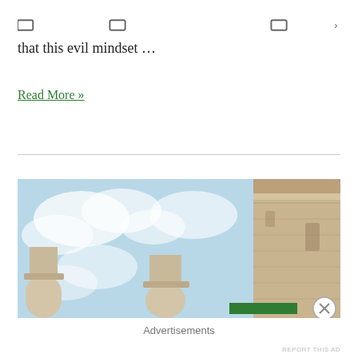that this evil mindset …
Read More »
[Figure (photo): Low-angle view of ancient Greek or Roman columns against a partly cloudy blue sky, with a close-up of weathered stone architecture on the right side]
Advertisements